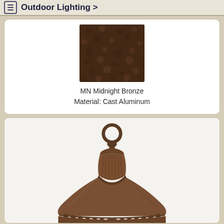Outdoor Lighting >
[Figure (photo): Close-up texture swatch of MN Midnight Bronze finish showing dark hammered/mottled brown surface]
MN Midnight Bronze
Material: Cast Aluminum
[Figure (photo): Close-up of an outdoor lamp top/finial in dark bronze cast aluminum, showing decorative urn-shaped finial with ring at top, ribbed urn body, and wide bell-shaped cap with beaded trim detail]